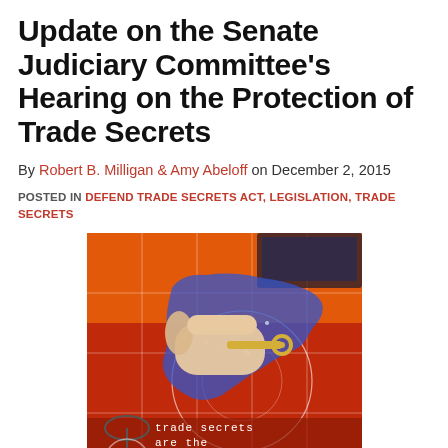Update on the Senate Judiciary Committee's Hearing on the Protection of Trade Secrets
By Robert B. Milligan & Amy Abeloff on December 2, 2015
POSTED IN DEFEND TRADE SECRETS ACT, LEGISLATION, TRADE SECRETS
[Figure (illustration): Illustration showing a hand holding a key over a glowing blue map of the United States set on a red background with radar/grid lines. Text reads 'trade secrets are the key to' at the bottom.]